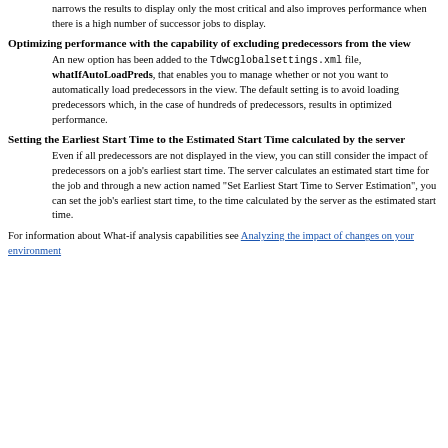narrows the results to display only the most critical and also improves performance when there is a high number of successor jobs to display.
Optimizing performance with the capability of excluding predecessors from the view
An new option has been added to the Tdwcglobalsettings.xml file, whatIfAutoLoadPreds, that enables you to manage whether or not you want to automatically load predecessors in the view. The default setting is to avoid loading predecessors which, in the case of hundreds of predecessors, results in optimized performance.
Setting the Earliest Start Time to the Estimated Start Time calculated by the server
Even if all predecessors are not displayed in the view, you can still consider the impact of predecessors on a job's earliest start time. The server calculates an estimated start time for the job and through a new action named "Set Earliest Start Time to Server Estimation", you can set the job's earliest start time, to the time calculated by the server as the estimated start time.
For information about What-if analysis capabilities see Analyzing the impact of changes on your environment